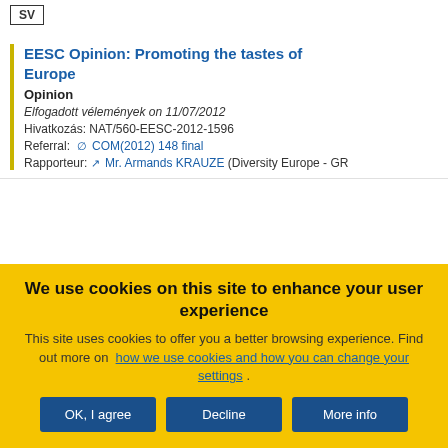SV
EESC Opinion: Promoting the tastes of Europe
Opinion
Elfogadott vélemények on 11/07/2012
Hivatkozás: NAT/560-EESC-2012-1596
Referral: COM(2012) 148 final
Rapporteur: Mr. Armands KRAUZE (Diversity Europe - GR
We use cookies on this site to enhance your user experience
This site uses cookies to offer you a better browsing experience. Find out more on how we use cookies and how you can change your settings .
OK, I agree | Decline | More info